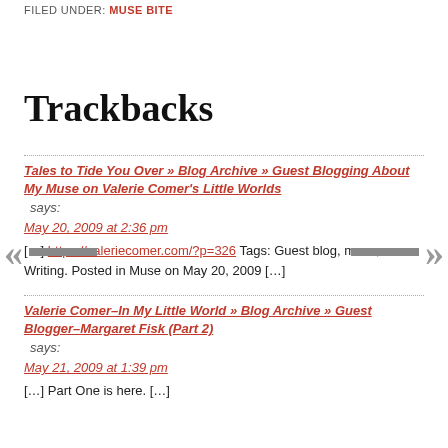FILED UNDER: MUSE BITE
Trackbacks
Tales to Tide You Over » Blog Archive » Guest Blogging About My Muse on Valerie Comer's Little Worlds says:
May 20, 2009 at 2:36 pm
[…] https://valeriecomer.com/?p=326 Tags: Guest blog, muse, Writing. Posted in Muse on May 20, 2009 […]
Valerie Comer–In My Little World » Blog Archive » Guest Blogger–Margaret Fisk (Part 2) says:
May 21, 2009 at 1:39 pm
[…] Part One is here. […]